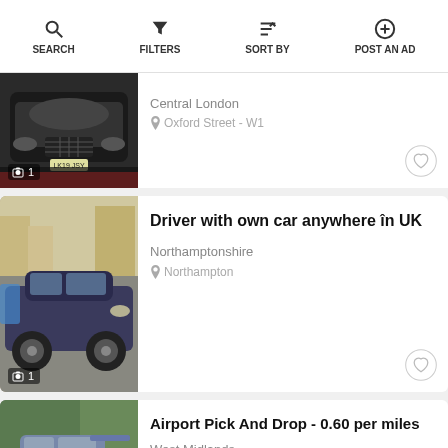SEARCH | FILTERS | SORT BY | POST AN AD
Central London
Oxford Street - W1
Driver with own car anywhere în UK
Northamptonshire
Northampton
Airport Pick And Drop - 0.60 per miles
West Midlands